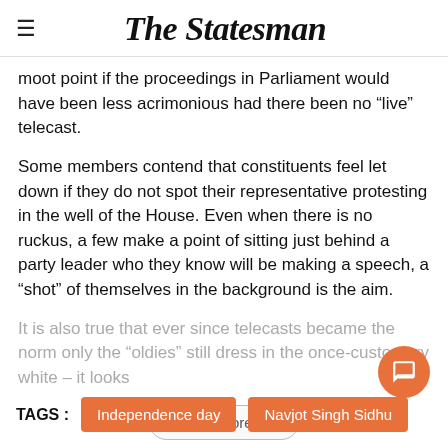The Statesman
moot point if the proceedings in Parliament would have been less acrimonious had there been no “live” telecast.
Some members contend that constituents feel let down if they do not spot their representative protesting in the well of the House. Even when there is no ruckus, a few make a point of sitting just behind a party leader who they know will be making a speech, a “shot” of themselves in the background is the aim.
It is also true that ever since telecasts became the norm only the “oldies” still dress in the once-customary white – it looks
Independence day
Navjot Singh Sidhu